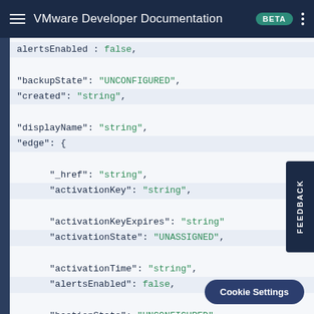VMware Developer Documentation BETA
[Figure (screenshot): JSON/code snippet showing API response schema fields including alertsEnabled, backupState, created, displayName, edge object with nested fields: _href, activationKey, activationKeyExpires, activationState, activationTime, alertsEnabled, bastionState, buildNumber, created, customInfo, description, deviceFamily, deviceId, dnsName]
Cookie Settings